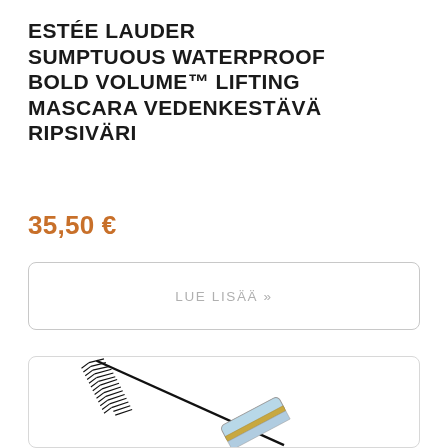ESTÉE LAUDER SUMPTUOUS WATERPROOF BOLD VOLUME™ LIFTING MASCARA VEDENKESTÄVÄ RIPSIVÄRI
35,50 €
LUE LISÄÄ »
[Figure (photo): Estée Lauder Sumptuous Waterproof Bold Volume mascara tube with brush/wand extending diagonally, shown inside a rounded rectangular border]